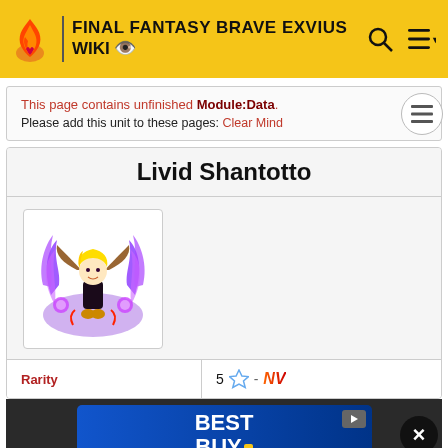FINAL FANTASY BRAVE EXVIUS WIKI
This page contains unfinished Module:Data.
Please add this unit to these pages: Clear Mind
Livid Shantotto
[Figure (illustration): Pixel art character illustration of Livid Shantotto surrounded by purple and blue magical flames/energy]
| Rarity | 5 ☆ - NV |
| --- | --- |
[Figure (other): Best Buy advertisement banner]
| Chain Family | Bolting Strike |
| --- | --- |